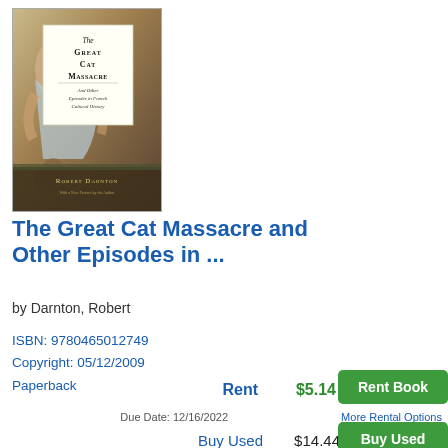[Figure (illustration): Book cover for 'The Great Cat Massacre And Other Episodes in French Cultural History' by Robert Darnton. Shows a classical painting background with a white title box overlay.]
The Great Cat Massacre and Other Episodes in ...
by Darnton, Robert
ISBN: 9780465012749
Copyright: 05/12/2009
Paperback
Rent   $5.14   Rent Book
Due Date: 12/16/2022
More Rental Options
Buy Used   $14.44   Buy Used
Buy New   $19.95